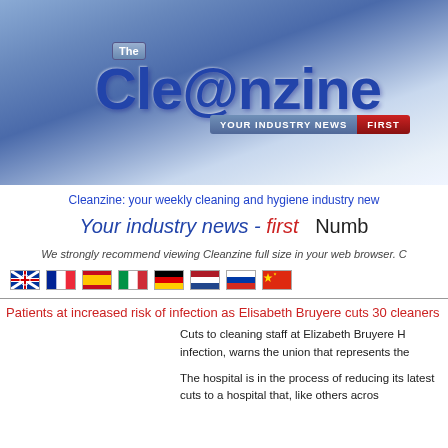[Figure (logo): The Cleanzine logo banner with blue gradient background, 'The' label in top-left, large 'CLE@NZINE' text, 'YOUR INDUSTRY NEWS' tag and 'FIRST' red button]
Cleanzine: your weekly cleaning and hygiene industry new
Your industry news - first   Numb
We strongly recommend viewing Cleanzine full size in your web browser. C
[Figure (illustration): Row of country flag icons: UK/world, France, Spain, Italy, Germany, Netherlands, Russia, China]
Patients at increased risk of infection as Elisabeth Bruyere cuts 30 cleaners
Cuts to cleaning staff at Elizabeth Bruyere H infection, warns the union that represents the
The hospital is in the process of reducing its latest cuts to a hospital that, like others acros